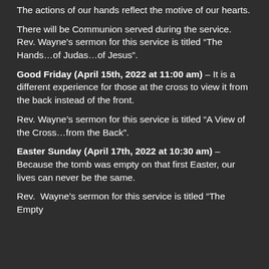The actions of our hands reflect the motive of our hearts.
There will be Communion served during the service.   Rev. Wayne's sermon for this service is titled “The Hands…of Judas…of Jesus”.
Good Friday (April 15th, 2022 at 11:00 am) – It is a different experience for those at the cross to view it from the back instead of the front.
Rev. Wayne’s sermon for this service is titled “A View of the Cross…from the Back”.
Easter Sunday (April 17th, 2022 at 10:30 am) – Because the tomb was empty on that first Easter, our lives can never be the same.
Rev.  Wayne’s sermon for this service is titled “The Empty